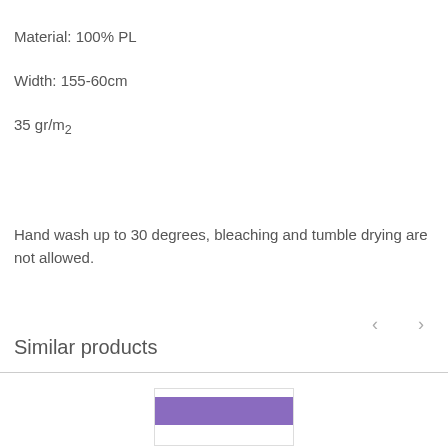Material: 100% PL
Width: 155-60cm
35 gr/m2
Hand wash up to 30 degrees, bleaching and tumble drying are not allowed.
Similar products
[Figure (other): Product thumbnail with purple banner at bottom of page]